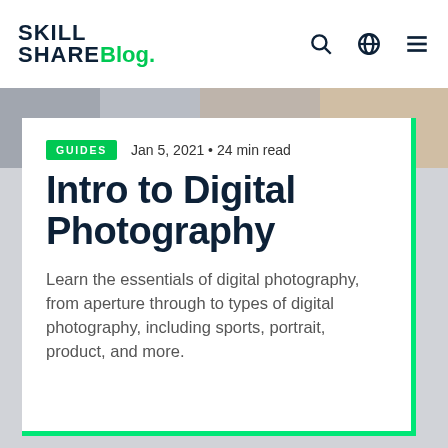SKILL SHARE Blog.
[Figure (photo): Background photo strip showing a blurred workspace scene with warm tones]
GUIDES  Jan 5, 2021 • 24 min read
Intro to Digital Photography
Learn the essentials of digital photography, from aperture through to types of digital photography, including sports, portrait, product, and more.